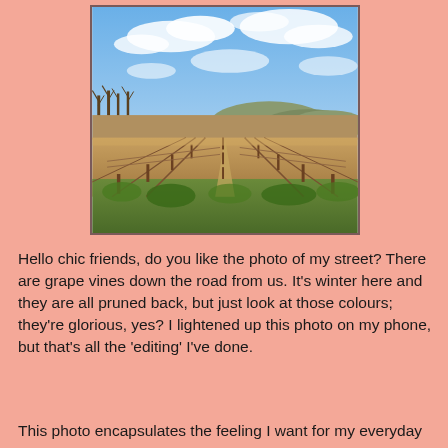[Figure (photo): A winter vineyard scene with rows of pruned grapevines receding into the distance, bare trees along the left side, hills in the background, green grass in the foreground, and a partly cloudy blue sky above.]
Hello chic friends, do you like the photo of my street?  There are grape vines down the road from us.  It's winter here and they are all pruned back, but just look at those colours; they're glorious, yes?  I lightened up this photo on my phone, but that's all the 'editing' I've done.
This photo encapsulates the feeling I want for my everyday